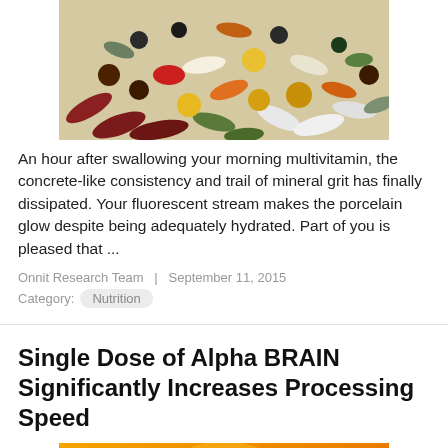[Figure (photo): Colorful assortment of vitamins, supplements, capsules and pills scattered together]
An hour after swallowing your morning multivitamin, the concrete-like consistency and trail of mineral grit has finally dissipated. Your fluorescent stream makes the porcelain glow despite being adequately hydrated. Part of you is pleased that ...
Onnit Research Team   |   September 11, 2015
Category:  Nutrition
Single Dose of Alpha BRAIN Significantly Increases Processing Speed
[Figure (photo): Orange and yellow graphic image, partially visible, related to Alpha BRAIN article]